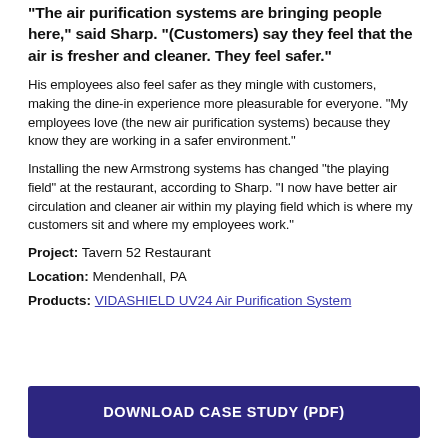“The air purification systems are bringing people here,” said Sharp. “(Customers) say they feel that the air is fresher and cleaner. They feel safer.”
His employees also feel safer as they mingle with customers, making the dine-in experience more pleasurable for everyone. “My employees love (the new air purification systems) because they know they are working in a safer environment.”
Installing the new Armstrong systems has changed “the playing field” at the restaurant, according to Sharp. “I now have better air circulation and cleaner air within my playing field which is where my customers sit and where my employees work.”
Project: Tavern 52 Restaurant
Location: Mendenhall, PA
Products: VIDASHIELD UV24 Air Purification System
DOWNLOAD CASE STUDY (PDF)